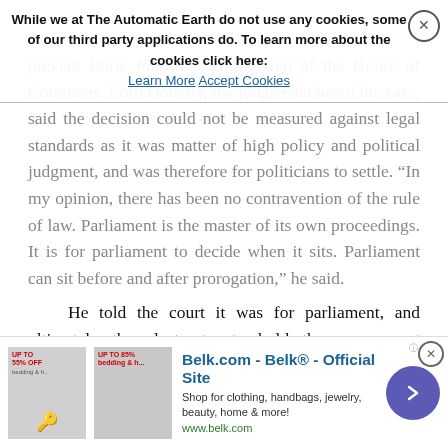While we at The Automatic Earth do not use any cookies, some of our third party applications do. To learn more about the cookies click here: Learn More  Accept Cookies
prevent Boris Johnson's prorogation of the House of Commons. Lord Doherty, the judge who heard the case, said the decision could not be measured against legal standards as it was matter of high policy and political judgment, and was therefore for politicians to settle. “In my opinion, there has been no contravention of the rule of law. Parliament is the master of its own proceedings. It is for parliament to decide when it sits. Parliament can sit before and after prorogation,” he said.
He told the court it was for parliament, and ultimately the electorate, to hold the government accountable for such political decisions. The case was initiated by the campaigning barrister Jolyon Maugham QC alongside a cross-party group of 75 MPs and peers, including the SNP’s Joanna Cherry. After the ruling Maugham tweeted: “The idea that if the PM suspends parliament the court can’t get involved looses some ugly demons. If he can do it for 34 days, why not 34 weeks, or 34 months? Where does this political power
[Figure (screenshot): Advertisement banner for Belk.com - Belk Official Site showing clothing sale promotions]